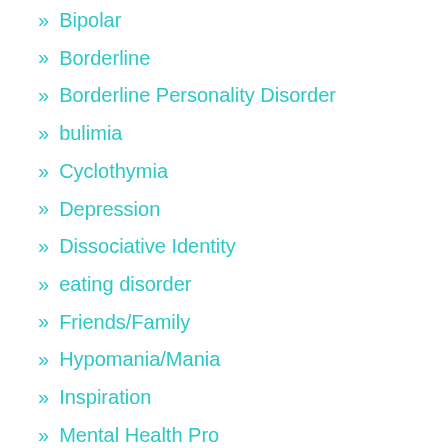» Bipolar
» Borderline
» Borderline Personality Disorder
» bulimia
» Cyclothymia
» Depression
» Dissociative Identity
» eating disorder
» Friends/Family
» Hypomania/Mania
» Inspiration
» Mental Health Pro
» Mental Illness
» OCD
» Panic Disorder
» Photography